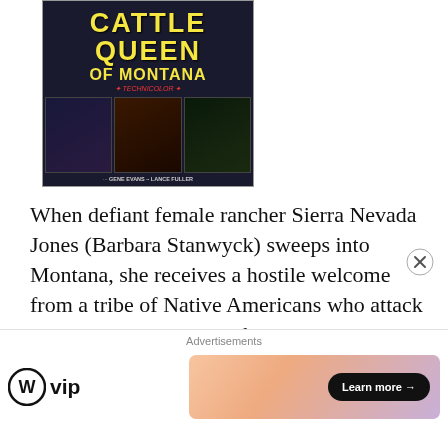[Figure (photo): Movie poster for 'Cattle Queen of Montana' in Technicolor, showing title text in yellow on dark background with three scene images at bottom, credits listing Gene Evans, Lance Fuller]
When defiant female rancher Sierra Nevada Jones (Barbara Stanwyck) sweeps into Montana, she receives a hostile welcome from a tribe of Native Americans who attack her cattle and leave her father dead. Kindly Indian brave Colorados (Lance Fuller) and government officer Farrell (Ronald Reagan) help Sierra fight for her land against treacherous locals like the envious Tom McCord (Gene Evans)...
Advertisements
[Figure (logo): WordPress VIP logo — circle W icon followed by 'vip' text]
[Figure (other): Advertisement banner with gradient orange/purple background and 'Learn more' button]